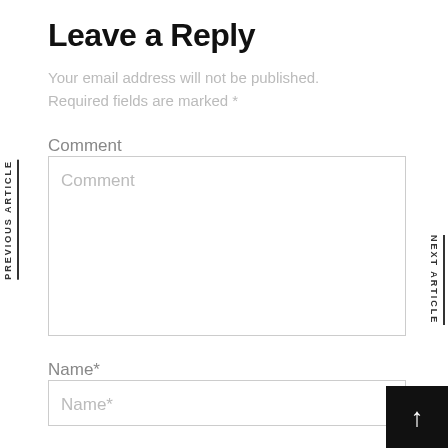Leave a Reply
Your email address will not be published. Required fields are marked *
Comment
Comment
Name*
Name*
PREVIOUS ARTICLE
NEXT ARTICLE